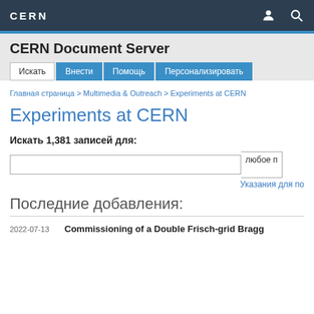CERN
CERN Document Server
Искать | Внести | Помощь | Персонализировать
Главная страница > Multimedia & Outreach > Experiments at CERN
Experiments at CERN
Искать 1,381 записей для:
любое поле
Указания для по
Последние добавления:
2022-07-13 Commissioning of a Double Frisch-grid Bragg